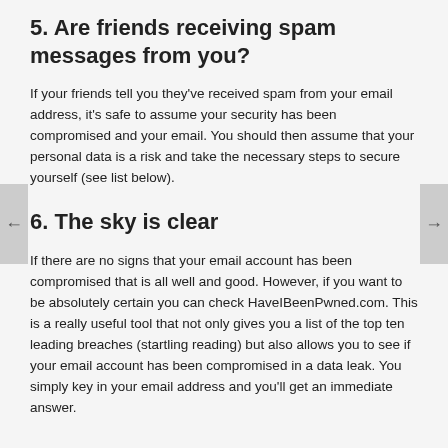5. Are friends receiving spam messages from you?
If your friends tell you they've received spam from your email address, it's safe to assume your security has been compromised and your email. You should then assume that your personal data is a risk and take the necessary steps to secure yourself (see list below).
6. The sky is clear
If there are no signs that your email account has been compromised that is all well and good. However, if you want to be absolutely certain you can check HaveIBeenPwned.com. This is a really useful tool that not only gives you a list of the top ten leading breaches (startling reading) but also allows you to see if your email account has been compromised in a data leak. You simply key in your email address and you'll get an immediate answer.